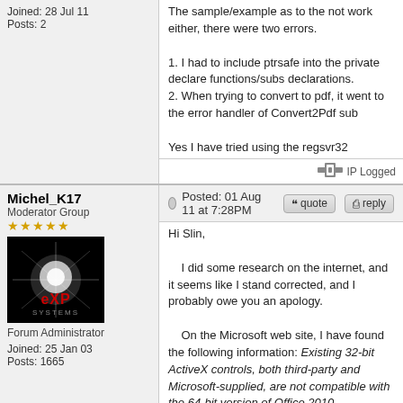Joined: 28 Jul 11
Posts: 2
The sample/example as to the not work either, there were two errors.
1. I had to include ptrsafe into the private declare functions/subs declarations.
2. When trying to convert to pdf, it went to the error handler of Convert2Pdf sub

Yes I have tried using the regsvr32 command running the command prompt as an administrator and registering C:\Program Files (x86)\PDF reDirectActiveX_PDF_Pro_v25002.dll
IP Logged
Michel_K17
Moderator Group
Forum Administrator
Joined: 25 Jan 03
Posts: 1665
Posted: 01 Aug 11 at 7:28PM
Hi Slin,

    I did some research on the internet, and it seems like I stand corrected, and I probably owe you an apology.

    On the Microsoft web site, I have found the following information: Existing 32-bit ActiveX controls, both third-party and Microsoft-supplied, are not compatible with the 64-bit version of Office 2010.

    So, even though I thought I had the 64 bit version of Office (there was an Office14 folder in C:\Program Files\Microsoft Office\Office14) it turns out there were just a few files there, and the applications were